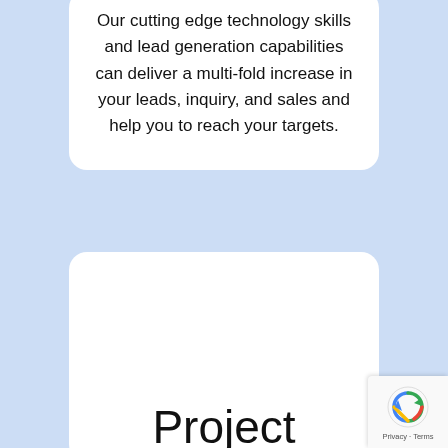Our cutting edge technology skills and lead generation capabilities can deliver a multi-fold increase in your leads, inquiry, and sales and help you to reach your targets.
Project